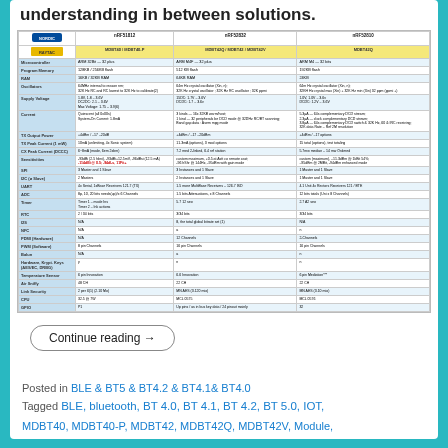understanding in between solutions.
[Figure (table-as-image): Comparison table of Nordic nRF51812, nRF52832, nRF52810 chips with Raytac modules MDBT40/MDBT40-P, MDBT42Q/MDBT42/MDBT42V, MDBT42Q showing specifications including Microcontroller, Program Memory, RAM, Oscillators, Supply Voltage, Current, TX Output Power, TX Peak Current, RX Peak Current, Sensitivities, SPI, I2C, UART, ADC, Timer, RTC, I2S, NFC, PWM (Hardware), PWM (Software), Balun, Hardware crypto key (AES, PRNG, DRBG), Temperature Sensor, Air Sniffy, Link Security, CPU, GPIO]
Continue reading →
Posted in BLE & BT5 & BT4.2 & BT4.1& BT4.0
Tagged BLE, bluetooth, BT 4.0, BT 4.1, BT 4.2, BT 5.0, IOT, MDBT40, MDBT40-P, MDBT42, MDBT42Q, MDBT42V, Module,